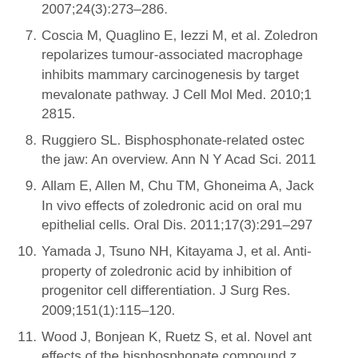2007;24(3):273–286.
7. Coscia M, Quaglino E, Iezzi M, et al. Zoledronic acid repolarizes tumour-associated macrophages and inhibits mammary carcinogenesis by targeting the mevalonate pathway. J Cell Mol Med. 2010;1 2815.
8. Ruggiero SL. Bisphosphonate-related osteonecrosis of the jaw: An overview. Ann N Y Acad Sci. 2011
9. Allam E, Allen M, Chu TM, Ghoneima A, Jack In vivo effects of zoledronic acid on oral mu epithelial cells. Oral Dis. 2011;17(3):291–297
10. Yamada J, Tsuno NH, Kitayama J, et al. Anti property of zoledronic acid by inhibition of progenitor cell differentiation. J Surg Res. 2009;151(1):115–120.
11. Wood J, Bonjean K, Ruetz S, et al. Novel anti effects of the bisphosphonate compound z